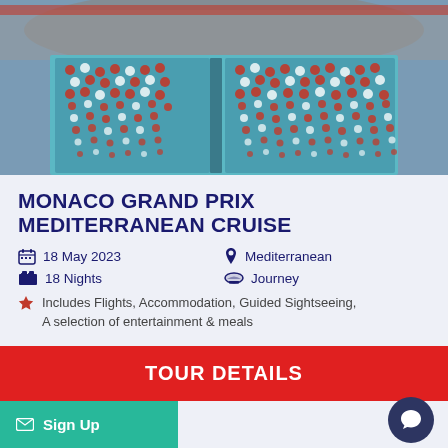[Figure (photo): Aerial view of a Formula 1 race track grandstand packed with spectators wearing red and white, with teal/blue seating visible]
MONACO GRAND PRIX MEDITERRANEAN CRUISE
18 May 2023  Mediterranean  18 Nights  Journey
Includes Flights, Accommodation, Guided Sightseeing, A selection of entertainment & meals
TOUR DETAILS
Sign Up